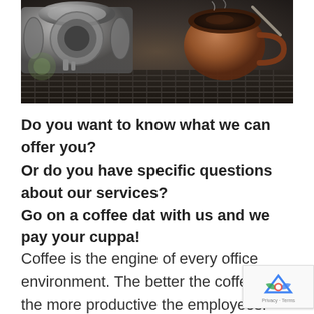[Figure (photo): Close-up photo of a coffee machine with portafilter and a reddish-brown coffee cup being filled, dark metallic tones]
Do you want to know what we can offer you?
Or do you have specific questions about our services?
Go on a coffee dat with us and we pay your cuppa!
Coffee is the engine of every office environment. The better the coffee, the more productive the employees! At least,